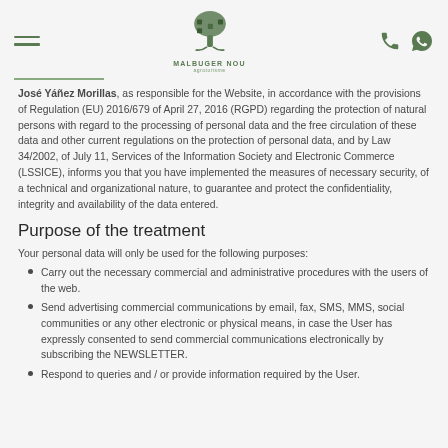Malbuger Nou Agroturisme — navigation header with hamburger menu, logo, phone and WhatsApp icons
José Yáñez Morillas, as responsible for the Website, in accordance with the provisions of Regulation (EU) 2016/679 of April 27, 2016 (RGPD) regarding the protection of natural persons with regard to the processing of personal data and the free circulation of these data and other current regulations on the protection of personal data, and by Law 34/2002, of July 11, Services of the Information Society and Electronic Commerce (LSSICE), informs you that you have implemented the measures of necessary security, of a technical and organizational nature, to guarantee and protect the confidentiality, integrity and availability of the data entered.
Purpose of the treatment
Your personal data will only be used for the following purposes:
Carry out the necessary commercial and administrative procedures with the users of the web.
Send advertising commercial communications by email, fax, SMS, MMS, social communities or any other electronic or physical means, in case the User has expressly consented to send commercial communications electronically by subscribing the NEWSLETTER.
Respond to queries and / or provide information required by the User.